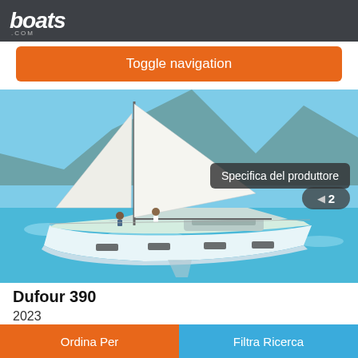boats.com
Toggle navigation
[Figure (photo): Dufour 390 sailboat sailing on turquoise water with white sails raised and crew aboard, viewed from the port side.]
Specifica del produttore
Dufour 390
2023
Su richiesta
STEERING SENSATIONS The new generation of Dufour sailboats
Ordina Per | Filtra Ricerca